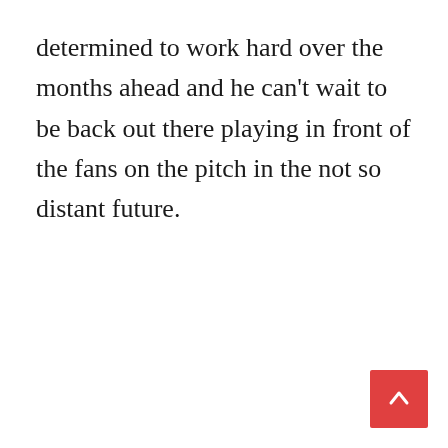determined to work hard over the months ahead and he can't wait to be back out there playing in front of the fans on the pitch in the not so distant future.
[Figure (other): Red square button with a white upward-pointing arrow, positioned at bottom-right corner of the page.]